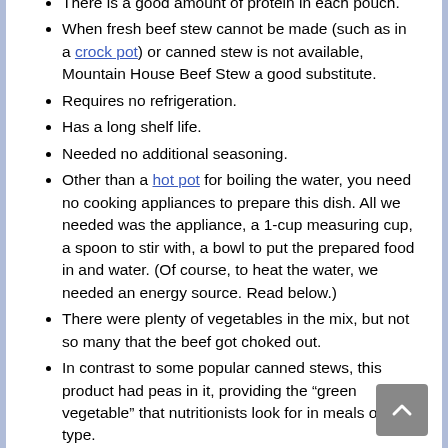There is a good amount of protein in each pouch.
When fresh beef stew cannot be made (such as in a crock pot) or canned stew is not available, Mountain House Beef Stew a good substitute.
Requires no refrigeration.
Has a long shelf life.
Needed no additional seasoning.
Other than a hot pot for boiling the water, you need no cooking appliances to prepare this dish. All we needed was the appliance, a 1-cup measuring cup, a spoon to stir with, a bowl to put the prepared food in and water. (Of course, to heat the water, we needed an energy source. Read below.)
There were plenty of vegetables in the mix, but not so many that the beef got choked out.
In contrast to some popular canned stews, this product had peas in it, providing the “green vegetable” that nutritionists look for in meals of this type.
The rehydrated beef stew had a nice creamy gravy that